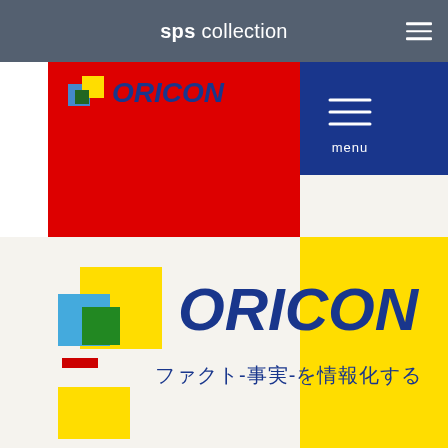sps collection
[Figure (logo): ORICON website screenshot showing the ORICON logo on a red header band with a blue menu button, and a large ORICON logo with colored squares (yellow, green, blue) on a light background with the tagline ファクト-事実-を情報化する and a yellow side stripe]
ファクト-事実-を情報化する